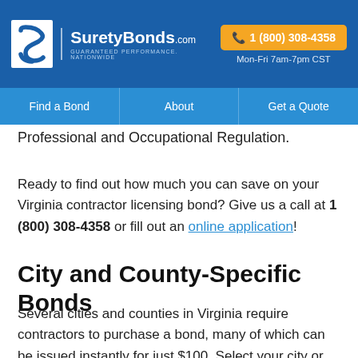[Figure (logo): SuretyBonds.com logo with S icon, white on blue background, tagline GUARANTEED PERFORMANCE. NATIONWIDE]
1 (800) 308-4358
Mon-Fri 7am-7pm CST
Find a Bond | About | Get a Quote
Professional and Occupational Regulation.
Ready to find out how much you can save on your Virginia contractor licensing bond? Give us a call at 1 (800) 308-4358 or fill out an online application!
City and County-Specific Bonds
Several cities and counties in Virginia require contractors to purchase a bond, many of which can be issued instantly for just $100. Select your city or county